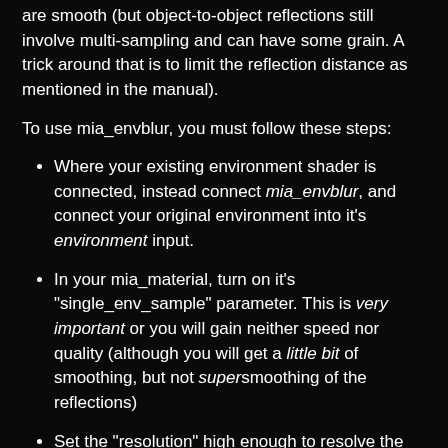are smooth (but object-to-object reflections still involve multi-sampling and can have some grain. A trick around that is to limit the reflection distance as mentioned in the manual).
To use mia_envblur, you must follow these steps:
Where your existing environment shader is connected, instead connect mia_envblur, and connect your original environment into it's environment input.
In your mia_material, turn on it's "single_env_sample" parameter. This is very important or you will gain neither speed nor quality (although you will get a little bit of smoothing, but not supersmoothing of the reflections)
Set the "resolution" high enough to resolve the details of your original environment.
As for the actual blur amount, you have two choices; Either you set a fixed amount of blur with the mia_envblur